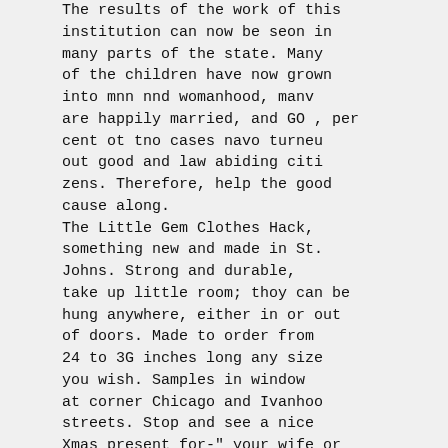The results of the work of this institution can now be seon in many parts of the state. Many of the children have now grown into mnn nnd womanhood, manv are happily married, and GO , per cent ot tno cases navo turneu out good and law abiding citi zens. Therefore, help the good cause along.
The Little Gem Clothes Hack, something new and made in St. Johns. Strong and durable, take up little room; thoy can be hung anywhere, either in or out of doors. Made to order from 24 to 3G inches long any size you wish. Samples in window at corner Chicago and Ivanhoo streets. Stop and see a nice Xmas present for-" your wife or mother. Prices, 75c to $1.00. ad
Suppression Often Wanted
Sometimes it is amusing, some times it is sad, when requests